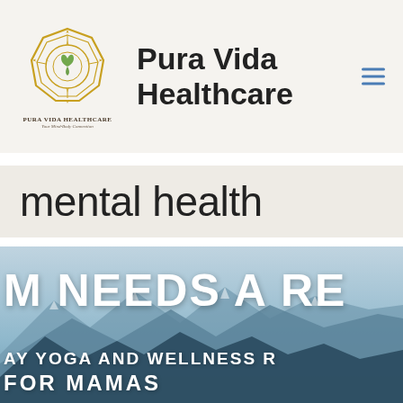Pura Vida Healthcare
mental health
[Figure (photo): Mountain landscape background with large white bold text overlay reading 'M NEEDS A RE' (partially cropped) and below 'AY YOGA AND WELLNESS R' and 'FOR MAMAS' partially visible — promotional image for a yoga and wellness retreat for mamas]